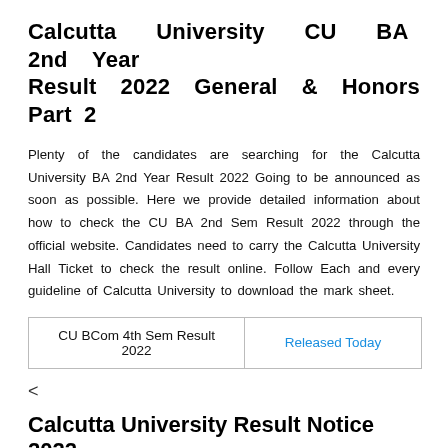Calcutta University CU BA 2nd Year Result 2022 General & Honors Part 2
Plenty of the candidates are searching for the Calcutta University BA 2nd Year Result 2022 Going to be announced as soon as possible. Here we provide detailed information about how to check the CU BA 2nd Sem Result 2022 through the official website. Candidates need to carry the Calcutta University Hall Ticket to check the result online. Follow Each and every guideline of Calcutta University to download the mark sheet.
| CU BCom 4th Sem Result 2022 | Released Today |
<
Calcutta University Result Notice 2022
Plenty of the hopefuls are waiting for the Calcutta University CU